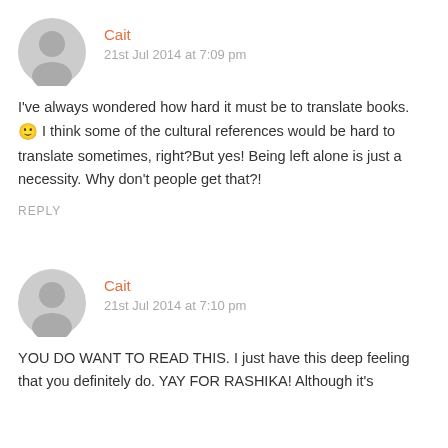Cait
21st Jul 2014 at 7:09 pm
I've always wondered how hard it must be to translate books. 🙂 I think some of the cultural references would be hard to translate sometimes, right?But yes! Being left alone is just a necessity. Why don't people get that?!
REPLY
Cait
21st Jul 2014 at 7:10 pm
YOU DO WANT TO READ THIS. I just have this deep feeling that you definitely do. YAY FOR RASHIKA! Although it's